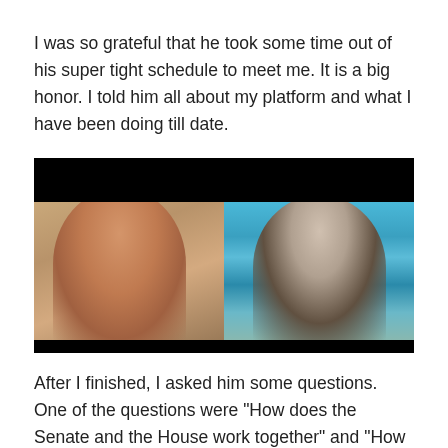I was so grateful that he took some time out of his super tight schedule to meet me. It is a big honor. I told him all about my platform and what I have been doing till date.
[Figure (photo): Video call screenshot showing two participants side by side: on the left, a young boy in a light blue shirt sitting in a home setting with a plant and furniture visible; on the right, an older man in a dark suit with a mountain lake virtual background.]
After I finished, I asked him some questions. One of the questions were “How does the Senate and the House work together” and “How does every Senator agree to pass a law” He was kind enough to take the time to answer and explain to me how the Congress works. It